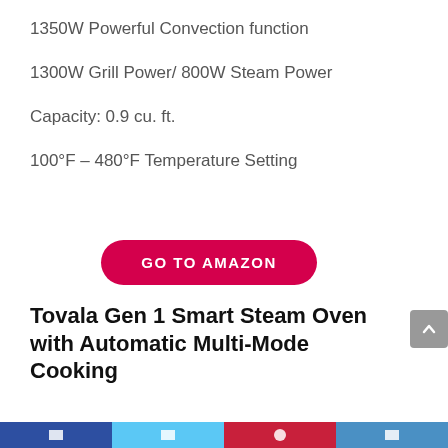1350W Powerful Convection function
1300W Grill Power/ 800W Steam Power
Capacity: 0.9 cu. ft.
100°F – 480°F Temperature Setting
[Figure (other): Red pill-shaped button with white uppercase text: GO TO AMAZON]
Tovala Gen 1 Smart Steam Oven with Automatic Multi-Mode Cooking
Social media share bar with icons for Facebook, Twitter, Pinterest, and another platform